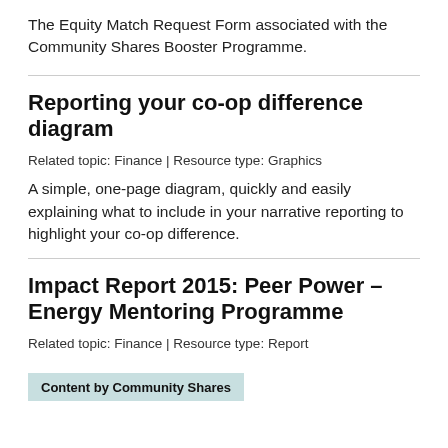The Equity Match Request Form associated with the Community Shares Booster Programme.
Reporting your co-op difference diagram
Related topic: Finance | Resource type: Graphics
A simple, one-page diagram, quickly and easily explaining what to include in your narrative reporting to highlight your co-op difference.
Impact Report 2015: Peer Power – Energy Mentoring Programme
Related topic: Finance | Resource type: Report
Content by Community Shares